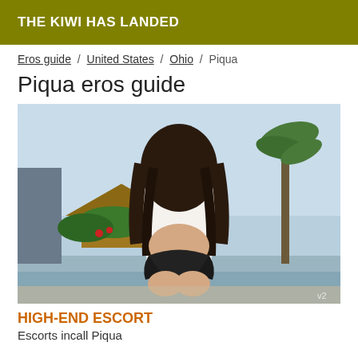THE KIWI HAS LANDED
Eros guide / United States / Ohio / Piqua
Piqua eros guide
[Figure (photo): Woman with long dark hair viewed from behind, wearing white cover-up and black bikini bottoms, kneeling at a pool edge with palm trees and tropical resort in background.]
HIGH-END ESCORT
Escorts incall Piqua